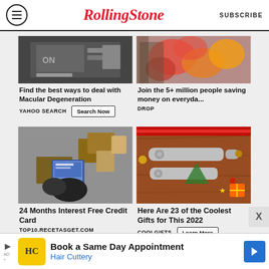RollingStone | SUBSCRIBE
[Figure (photo): Top-left ad: dark background showing a laptop/notebook on dark surface - Macular Degeneration ad image]
[Figure (photo): Top-right ad: colorful fruits/vegetables including apples and other produce - Drop savings app ad image]
Find the best ways to deal with Macular Degeneration
YAHOO SEARCH   Search Now
Join the 5+ million people saving money on everyda...
DROP
[Figure (photo): Bottom-left ad: aerial view of person sitting on floor using laptop surrounded by cardboard boxes - Credit card ad]
[Figure (photo): Bottom-right ad: metal multi-tool key-shaped gadgets with Christmas decorations on wooden surface - CoolGifts ad]
24 Months Interest Free Credit Card
TOP10.RECETASGET.COM
Here Are 23 of the Coolest Gifts for This 2022
COOLGIFTS   Learn More
[Figure (photo): Bottom banner ad: Hair Cuttery - Book a Same Day Appointment]